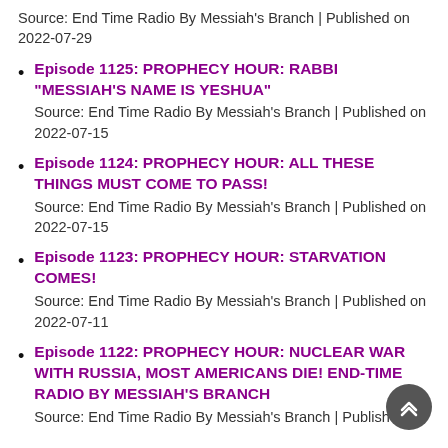Source: End Time Radio By Messiah's Branch | Published on 2022-07-29
Episode 1125: PROPHECY HOUR: RABBI “MESSIAH’S NAME IS YESHUA”
Source: End Time Radio By Messiah's Branch | Published on 2022-07-15
Episode 1124: PROPHECY HOUR: ALL THESE THINGS MUST COME TO PASS!
Source: End Time Radio By Messiah's Branch | Published on 2022-07-15
Episode 1123: PROPHECY HOUR: STARVATION COMES!
Source: End Time Radio By Messiah's Branch | Published on 2022-07-11
Episode 1122: PROPHECY HOUR: NUCLEAR WAR WITH RUSSIA, MOST AMERICANS DIE! END-TIME RADIO BY MESSIAH’S BRANCH
Source: End Time Radio By Messiah's Branch | Published on ...